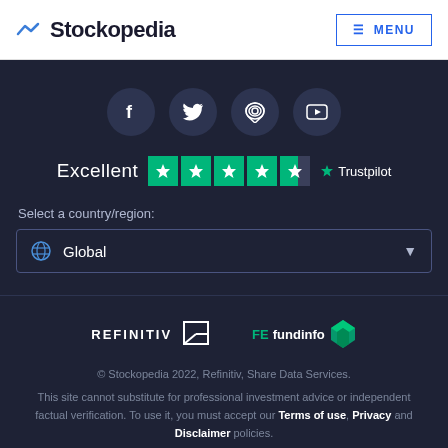Stockopedia — MENU
[Figure (logo): Social media icons: Facebook, Twitter, Spotify/RSS, YouTube in dark circles]
[Figure (infographic): Excellent rating with 4.5 green Trustpilot stars and Trustpilot logo]
Select a country/region:
Global (dropdown)
[Figure (logo): Refinitiv logo and FE fundinfo logo side by side]
© Stockopedia 2022, Refinitiv, Share Data Services.
This site cannot substitute for professional investment advice or independent factual verification. To use it, you must accept our Terms of use, Privacy and Disclaimer policies.